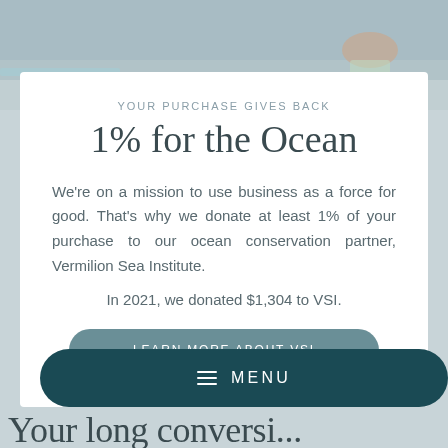[Figure (photo): Partial photo of person on boat/water surface, cropped at top of page]
YOUR PURCHASE GIVES BACK
1% for the Ocean
We're on a mission to use business as a force for good. That's why we donate at least 1% of your purchase to our ocean conservation partner, Vermilion Sea Institute.
In 2021, we donated $1,304 to VSI.
LEARN MORE ABOUT VSI
≡ MENU
Your long conversation ti...